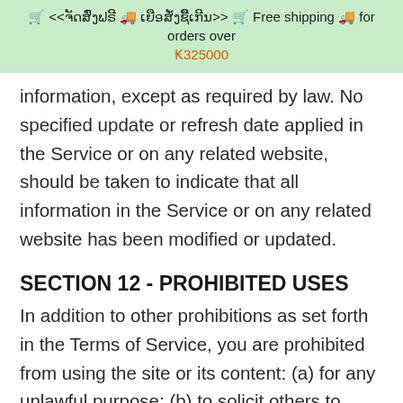🛒 <<จัดส่งฟรี 🚚 เยือสั่งซื้อเกิน>> 🛒 Free shipping 🚚 for orders over ₭325000
information, except as required by law. No specified update or refresh date applied in the Service or on any related website, should be taken to indicate that all information in the Service or on any related website has been modified or updated.
SECTION 12 - PROHIBITED USES
In addition to other prohibitions as set forth in the Terms of Service, you are prohibited from using the site or its content: (a) for any unlawful purpose; (b) to solicit others to perform or participate in any unlawful acts; (c) to violate any international, federal, provincial or state regulations,